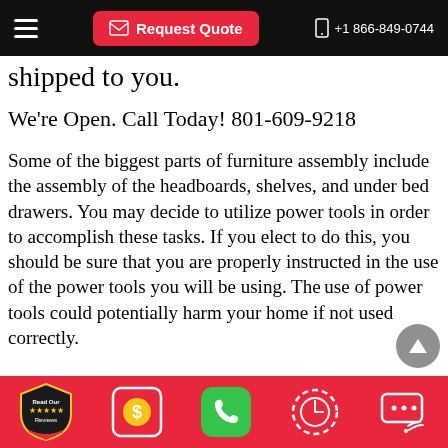Request Quote  +1 866-849-0744
shipped to you.
We're Open. Call Today! 801-609-9218
Some of the biggest parts of furniture assembly include the assembly of the headboards, shelves, and under bed drawers. You may decide to utilize power tools in order to accomplish these tasks. If you elect to do this, you should be sure that you are properly instructed in the use of the power tools you will be using. The use of power tools could potentially harm your home if not used correctly.
Read Our Reviews | $ icon | Phone icon | Clock icon | Chat icon